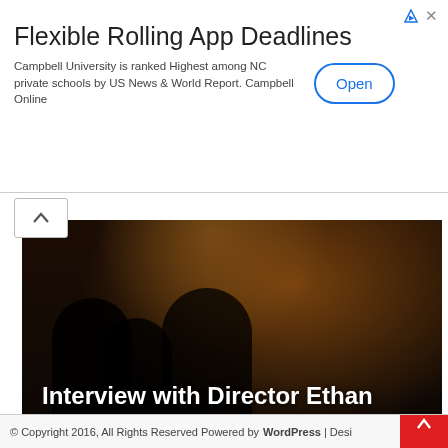[Figure (screenshot): Advertisement banner: 'Flexible Rolling App Deadlines' for Campbell University with Open button]
[Figure (photo): Dark cinematic image showing silhouettes of figures with warm backlight, with overlay text 'Interview with Director Ethan Hawke of Blaze']
Interview with Director Ethan Hawke of Blaze
CINEMATIC ANALYSIS
Cinematic Analysis: Is Blade Runner a Masterpiece?
© Copyright 2016, All Rights Reserved Powered by WordPress | Desi